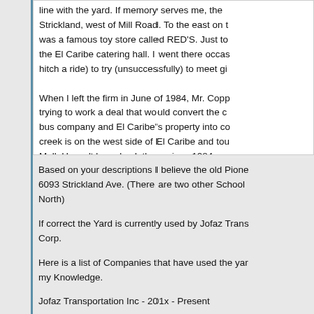line with the yard. If memory serves me, the Strickland, west of Mill Road. To the east on t was a famous toy store called RED'S. Just to the El Caribe catering hall. I went there occas hitch a ride) to try (unsuccessfully) to meet gi
When I left the firm in June of 1984, Mr. Copp trying to work a deal that would convert the c bus company and El Caribe's property into co creek is on the west side of El Caribe and tou Mall. Haven't been back there since 1984, so now.
Based on your descriptions I believe the old Pione 6093 Strickland Ave. (There are two other School North)
If correct the Yard is currently used by Jofaz Trans Corp.
Here is a list of Companies that have used the yar my Knowledge.
Jofaz Transportation Inc - 201x - Present